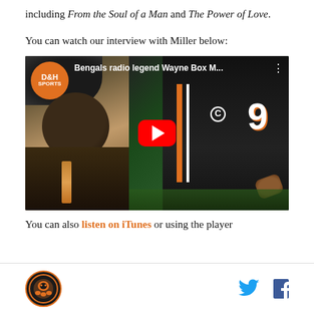including From the Soul of a Man and The Power of Love.
You can watch our interview with Miller below:
[Figure (screenshot): YouTube video thumbnail showing D&H Sports logo, title 'Bengals radio legend Wayne Box M...', split screen of an interviewer on the left and Cincinnati Bengals quarterback #9 Joe Burrow on the right, with a red YouTube play button overlay]
You can also listen on iTunes or using the player
[Figure (logo): Bengals-related circular logo with tiger/bengal imagery]
[Figure (logo): Twitter bird icon and Facebook f icon social media links]